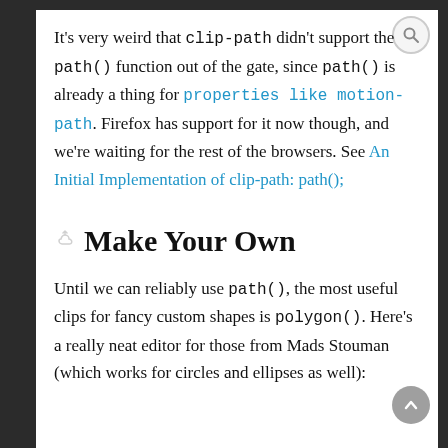It's very weird that clip-path didn't support the path() function out of the gate, since path() is already a thing for properties like motion-path. Firefox has support for it now though, and we're waiting for the rest of the browsers. See An Initial Implementation of clip-path: path();
Make Your Own
Until we can reliably use path(), the most useful clips for fancy custom shapes is polygon(). Here's a really neat editor for those from Mads Stouman (which works for circles and ellipses as well):